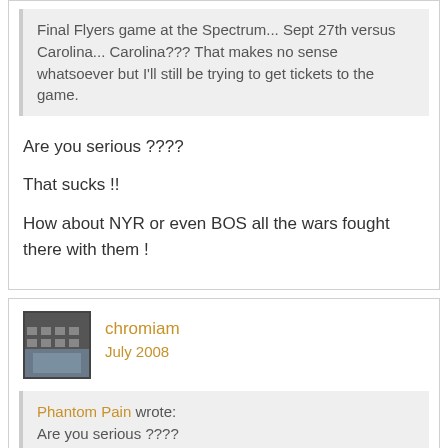Final Flyers game at the Spectrum... Sept 27th versus Carolina... Carolina??? That makes no sense whatsoever but I'll still be trying to get tickets to the game.
Are you serious ????

That sucks !!

How about NYR or even BOS all the wars fought there with them !
chromiam
July 2008
Phantom Pain wrote:
Are you serious ????

That sucks !!